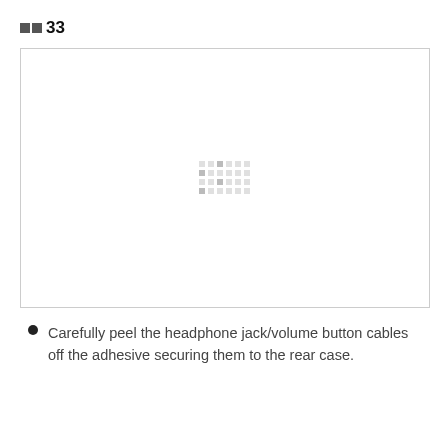33
[Figure (photo): A photo placeholder showing a device component image with a small dot-pattern watermark in the center, inside a light gray bordered rectangle.]
Carefully peel the headphone jack/volume button cables off the adhesive securing them to the rear case.